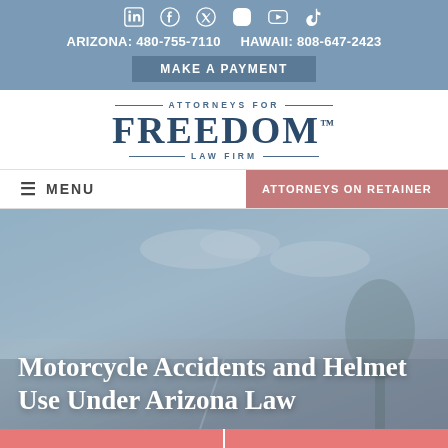Social icons: LinkedIn, Facebook, Twitter, Instagram, YouTube, TikTok
ARIZONA: 480-755-7110   HAWAII: 808-647-2423
MAKE A PAYMENT
ATTORNEYS FOR FREEDOM LAW FIRM
≡ MENU   ATTORNEYS ON RETAINER
[Figure (photo): Motorcycle rider on a road with sky and trees in background, overlaid with semi-transparent blue tone]
Motorcycle Accidents and Helmet Use Under Arizona Law
LIVE CHAT   TEXT US